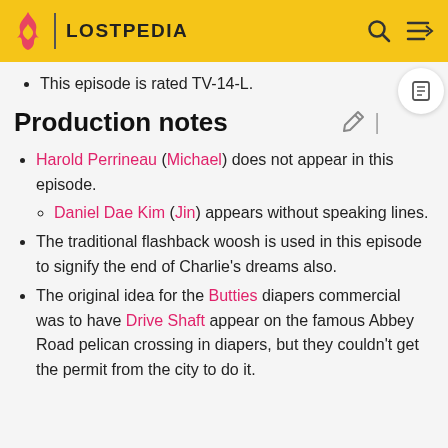LOSTPEDIA
This episode is rated TV-14-L.
Production notes
Harold Perrineau (Michael) does not appear in this episode.
Daniel Dae Kim (Jin) appears without speaking lines.
The traditional flashback woosh is used in this episode to signify the end of Charlie's dreams also.
The original idea for the Butties diapers commercial was to have Drive Shaft appear on the famous Abbey Road pelican crossing in diapers, but they couldn't get the permit from the city to do it.